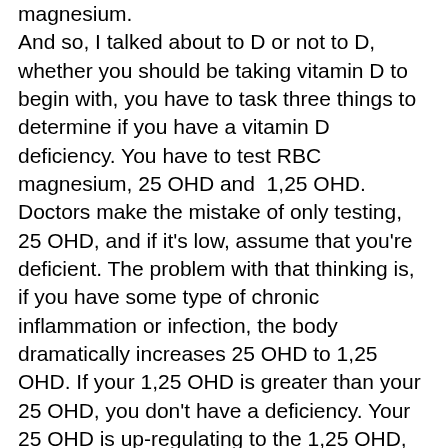magnesium. And so, I talked about to D or not to D, whether you should be taking vitamin D to begin with, you have to task three things to determine if you have a vitamin D deficiency. You have to test RBC magnesium, 25 OHD and 1,25 OHD. Doctors make the mistake of only testing, 25 OHD, and if it's low, assume that you're deficient. The problem with that thinking is, if you have some type of chronic inflammation or infection, the body dramatically increases 25 OHD to 1,25 OHD. If your 1,25 OHD is greater than your 25 OHD, you don't have a deficiency. Your 25 OHD is up-regulating to the 1,25 OHD, due to some type of stress and chronic inflammation, and you probably don't want to continue to take vitamin D in that situation. If 25 OHD and 1,25OHD are both low, then you probably have a magnesium deficiency. So before you flood the system with more vitamin D, you'd need to check and see if you have a vitamin or a magnesium deficiency. Because